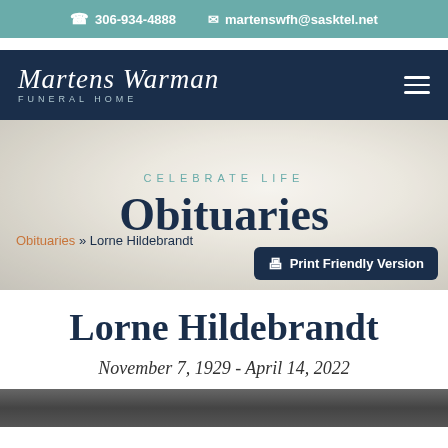306-934-4888   martenswfh@sasktel.net
[Figure (logo): Martens Warman Funeral Home script logo on dark navy background with hamburger menu icon]
[Figure (photo): Hero section with white peony flower background, CELEBRATE LIFE subtitle, Obituaries heading, breadcrumb navigation Obituaries » Lorne Hildebrandt, and Print Friendly Version button]
Lorne Hildebrandt
November 7, 1929 - April 14, 2022
[Figure (photo): Bottom photo strip showing partial dark photograph]